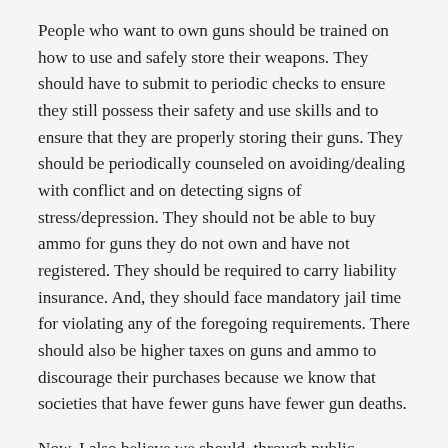People who want to own guns should be trained on how to use and safely store their weapons. They should have to submit to periodic checks to ensure they still possess their safety and use skills and to ensure that they are properly storing their guns. They should be periodically counseled on avoiding/dealing with conflict and on detecting signs of stress/depression. They should not be able to buy ammo for guns they do not own and have not registered. They should be required to carry liability insurance. And, they should face mandatory jail time for violating any of the foregoing requirements. There should also be higher taxes on guns and ammo to discourage their purchases because we know that societies that have fewer guns have fewer gun deaths.
Now, I also believe we should, through public persuasion, public pressure and, when possible new legislation, steadily move in the direction of reducing the number of guns in society, increasing the difficulty to acquire a gun and making guns less lethal. We know for a fact that these things will